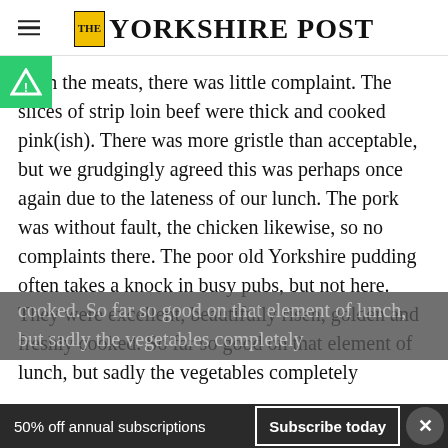THE YORKSHIRE POST
With the meats, there was little complaint. The slices of strip loin beef were thick and cooked pink(ish). There was more gristle than acceptable, but we grudgingly agreed this was perhaps once again due to the lateness of our lunch. The pork was without fault, the chicken likewise, so no complaints there. The poor old Yorkshire pudding often takes a knock in busy pubs, but not here. They were excellent, beautifully risen, golden and freshly cooked. So far so good on that element of lunch, but sadly the vegetables completely
50% off annual subscriptions
Subscribe today